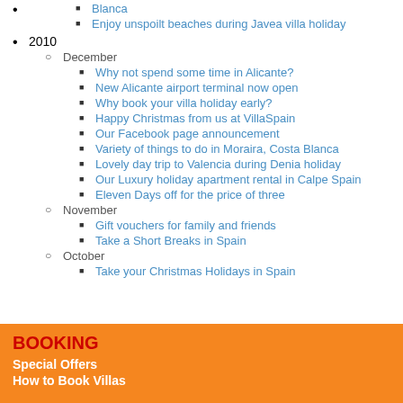Blanca (truncated at top)
Enjoy unspoilt beaches during Javea villa holiday
2010
December
Why not spend some time in Alicante?
New Alicante airport terminal now open
Why book your villa holiday early?
Happy Christmas from us at VillaSpain
Our Facebook page announcement
Variety of things to do in Moraira, Costa Blanca
Lovely day trip to Valencia during Denia holiday
Our Luxury holiday apartment rental in Calpe Spain
Eleven Days off for the price of three
November
Gift vouchers for family and friends
Take a Short Breaks in Spain
October
Take your Christmas Holidays in Spain
BOOKING
Special Offers
How to Book Villas